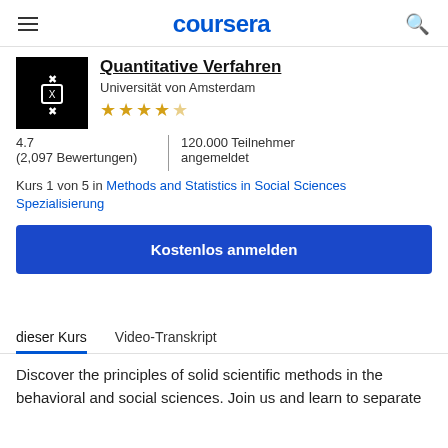coursera
Quantitative Verfahren
Universität von Amsterdam
★★★★☆
4.7
(2,097 Bewertungen)
Kurs 1 von 5 in Methods and Statistics in Social Sciences Spezialisierung
120.000 Teilnehmer angemeldet
Kostenlos anmelden
dieser Kurs	Video-Transkript
Discover the principles of solid scientific methods in the behavioral and social sciences. Join us and learn to separate